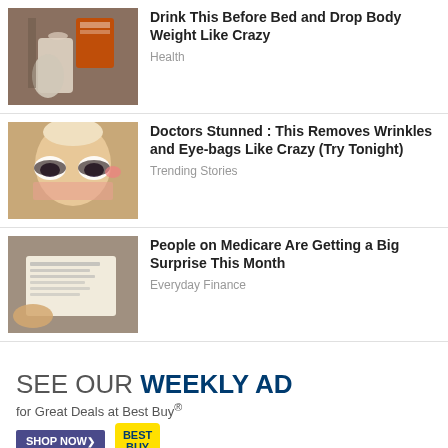[Figure (photo): Person pouring powder into a mason jar, holding an orange box]
Drink This Before Bed and Drop Body Weight Like Crazy
Health
[Figure (photo): Blonde woman with dark eye patches/treatment under eyes]
Doctors Stunned : This Removes Wrinkles and Eye-bags Like Crazy (Try Tonight)
Trending Stories
[Figure (photo): Hand holding a document/check paper]
People on Medicare Are Getting a Big Surprise This Month
Everyday Finance
[Figure (infographic): Best Buy weekly ad banner: SEE OUR WEEKLY AD for Great Deals at Best Buy® with SHOP NOW button and Best Buy logo]
[Figure (infographic): Amazon ad: Shop. Connect. Enjoy. amazon Shop now with product images and Privacy text]